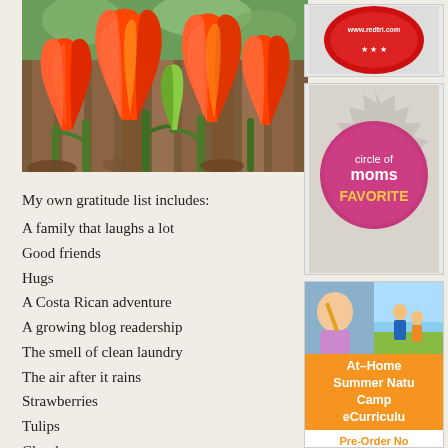[Figure (photo): Close-up photograph of bright orange-red tulips with green stems against a wooden background]
My own gratitude list includes:
A family that laughs a lot
Good friends
Hugs
A Costa Rican adventure
A growing blog readership
The smell of clean laundry
The air after it rains
Strawberries
Tulips
Clouds
[Figure (logo): RedTri logo with www.redtri.com text in red circular design]
[Figure (logo): Circle of Moms FAVORITE badge - pink circular badge on grey starburst background]
[Figure (infographic): At-Home Summer Nature Camp eCurriculum advertisement with Pre-Order Now button and orange background]